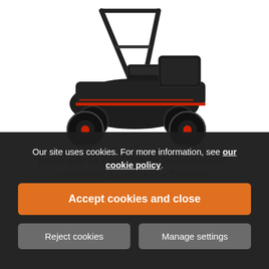[Figure (photo): Kress 60V cordless brushless self-propelled lawnmower product photo — black and red lawn mower viewed from front-right angle on white background]
Kress 60V 51 cm Cordless Brushless Self-propelled Lawnmower – Tool Only
Our site uses cookies. For more information, see our cookie policy.
Accept cookies and close
Reject cookies
Manage settings